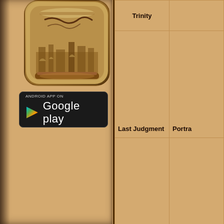[Figure (screenshot): App icon for an art/history book app showing a scroll/parchment with buildings silhouette on a brown textured background]
[Figure (screenshot): Google Play store download button with Play triangle logo]
| Trinity |  |
| --- | --- |
| Last Judgment | Portra |
| Angel with Candlestick | La |